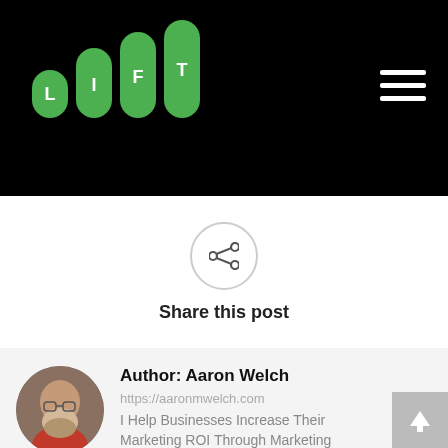[Figure (logo): LIFT logo with green bar chart icons and letter tiles on black background]
[Figure (other): Hamburger menu icon (three white horizontal lines) on black background]
[Figure (other): Share icon: less-than symbol inside a circle with grey border]
Share this post
[Figure (photo): Circular profile photo of Aaron Welch, a middle-aged man with glasses and a beard wearing a red shirt]
Author: Aaron Welch
https://aaronmwelch.com
I Help Businesses Increase Their Marketing ROI Through Marketing